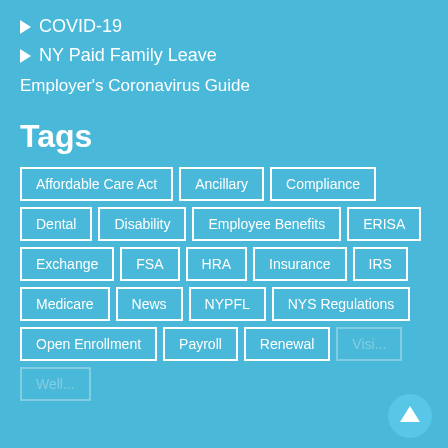▶ COVID-19
▶ NY Paid Family Leave
Employer's Coronavirus Guide
Tags
Affordable Care Act
Ancillary
Compliance
Dental
Disability
Employee Benefits
ERISA
Exchange
FSA
HRA
Insurance
IRS
Medicare
News
NYPFL
NYS Regulations
Open Enrollment
Payroll
Renewal